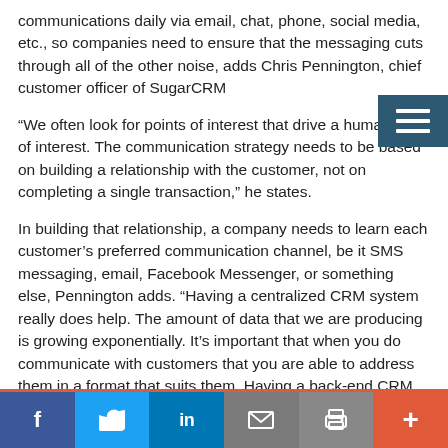communications daily via email, chat, phone, social media, etc., so companies need to ensure that the messaging cuts through all of the other noise, adds Chris Pennington, chief customer officer of SugarCRM
“We often look for points of interest that drive a human level of interest. The communication strategy needs to be based on building a relationship with the customer, not on completing a single transaction,” he states.
In building that relationship, a company needs to learn each customer’s preferred communication channel, be it SMS messaging, email, Facebook Messenger, or something else, Pennington adds. “Having a centralized CRM system really does help. The amount of data that we are producing is growing exponentially. It’s important that when you do communicate with customers that you are able to address them in a format that suits them. Having a back-end CRM system can track preferences for communication styles. It’s important to be able to track that because customer behavior is constantly